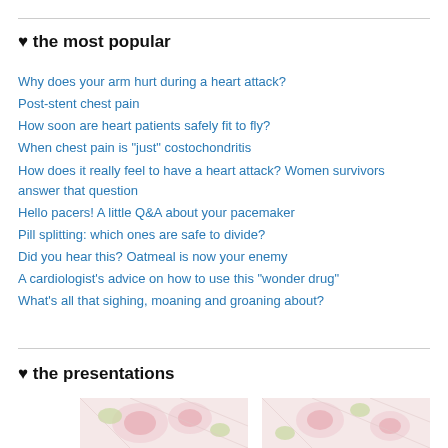♥ the most popular
Why does your arm hurt during a heart attack?
Post-stent chest pain
How soon are heart patients safely fit to fly?
When chest pain is "just" costochondritis
How does it really feel to have a heart attack? Women survivors answer that question
Hello pacers! A little Q&A about your pacemaker
Pill splitting: which ones are safe to divide?
Did you hear this? Oatmeal is now your enemy
A cardiologist's advice on how to use this "wonder drug"
What's all that sighing, moaning and groaning about?
♥ the presentations
[Figure (photo): Two decorative images of pink roses on white background, side by side]